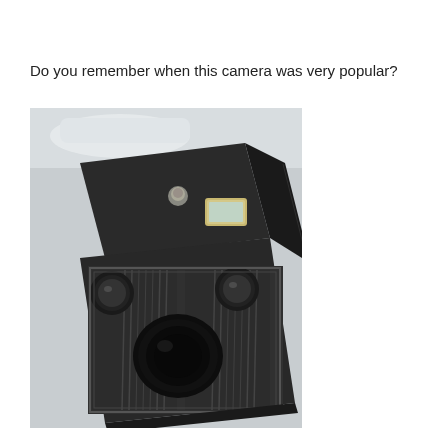Do you remember when this camera was very popular?
[Figure (photo): A vintage black box camera photographed from above at an angle, showing the front face with a large central lens, two smaller viewfinder lenses, and a decorative Art Deco patterned front panel. The top has a shutter button and a small viewfinder window. The camera body is dark black with worn edges, resting on a light gray surface.]